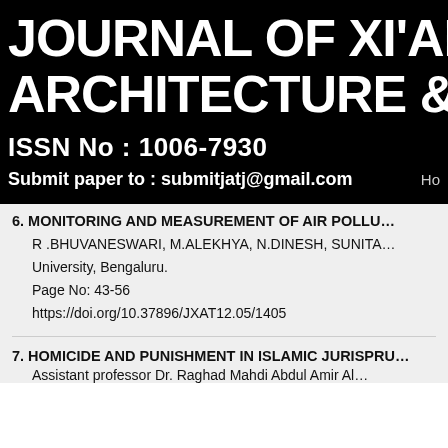JOURNAL OF XI'AN U ARCHITECTURE & TE
ISSN No : 1006-7930
Submit paper to : submitjatj@gmail.com   Ho
6. MONITORING AND MEASUREMENT OF AIR POLLU...
R .BHUVANESWARI, M.ALEKHYA, N.DINESH, SUNITA...
University, Bengaluru.
Page No: 43-56
https://doi.org/10.37896/JXAT12.05/1405
7. HOMICIDE AND PUNISHMENT IN ISLAMIC JURISPRU...
Assistant professor Dr. Raghad Mahdi Abdul Amir Al